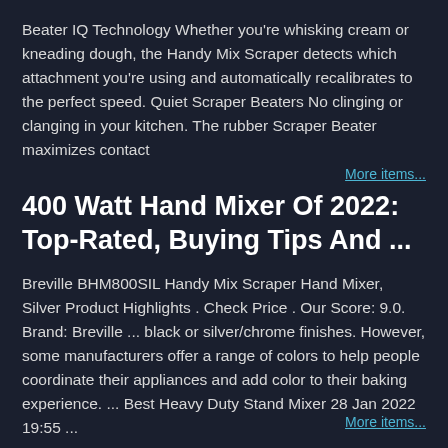Beater IQ Technology Whether you're whisking cream or kneading dough, the Handy Mix Scraper detects which attachment you're using and automatically recalibrates to the perfect speed. Quiet Scraper Beaters No clinging or clanging in your kitchen. The rubber Scraper Beater maximizes contact
More items...
400 Watt Hand Mixer Of 2022: Top-Rated, Buying Tips And ...
Breville BHM800SIL Handy Mix Scraper Hand Mixer, Silver Product Highlights . Check Price . Our Score: 9.0. Brand: Breville ... black or silver/chrome finishes. However, some manufacturers offer a range of colors to help people coordinate their appliances and add color to their baking experience. ... Best Heavy Duty Stand Mixer 28 Jan 2022 19:55 ...
More items...